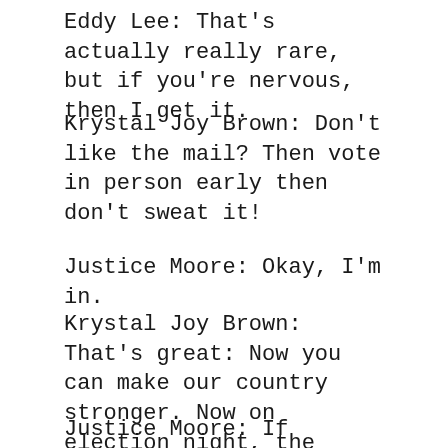Eddy Lee: That's actually really rare, but if you're nervous, then I get it.
Krystal Joy Brown: Don't like the mail? Then vote in person early then don't sweat it!
Justice Moore: Okay, I'm in.
Krystal Joy Brown: That's great: Now you can make our country stronger. Now on election night, the mail-in votes, well those take longer.
Justice Moore: If there's still more to